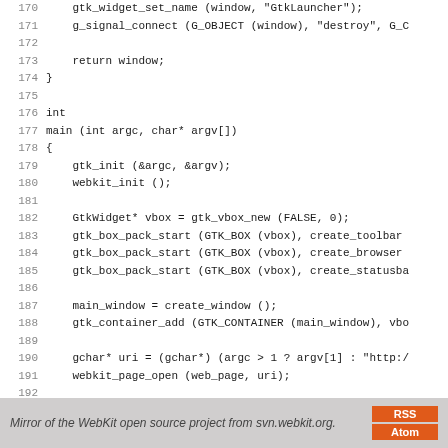Code listing lines 170-198: GTK/WebKit C source code
Mirror of the WebKit open source project from svn.webkit.org.